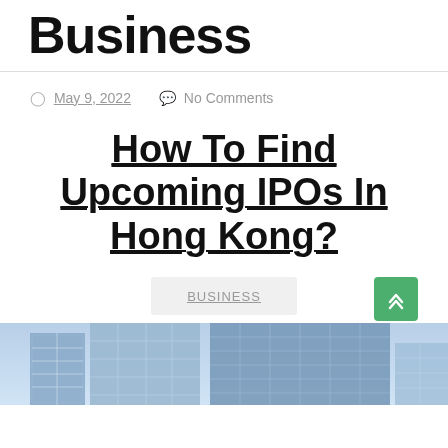Business
May 9, 2022  No Comments
How To Find Upcoming IPOs In Hong Kong?
BUSINESS
[Figure (photo): Photo of Hong Kong skyscrapers / glass buildings from a low angle looking up, with blue tones]